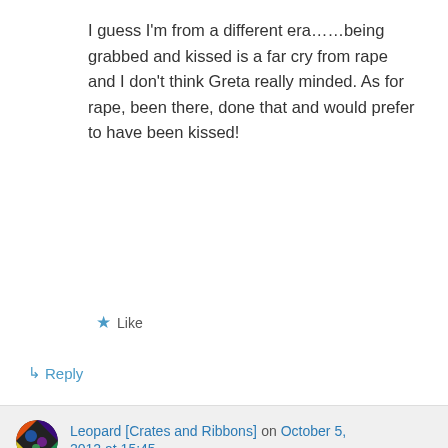I guess I'm from a different era……being grabbed and kissed is a far cry from rape and I don't think Greta really minded. As for rape, been there, done that and would prefer to have been kissed!
★ Like
↳ Reply
Leopard [Crates and Ribbons] on October 5, 2012 at 15:45
Please refer to Misconception #2 and
Advertisements
AUTOMATTIC
Build a better web and a better world.